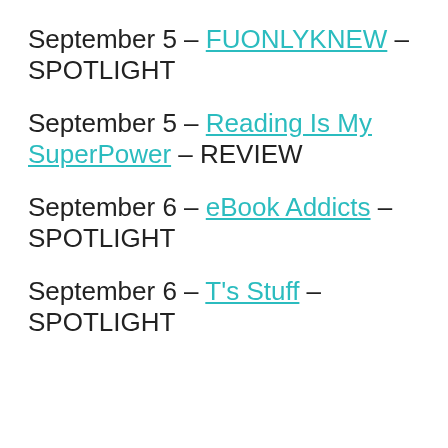September 5 – FUONLYKNEW – SPOTLIGHT
September 5 – Reading Is My SuperPower – REVIEW
September 6 – eBook Addicts – SPOTLIGHT
September 6 – T's Stuff – SPOTLIGHT